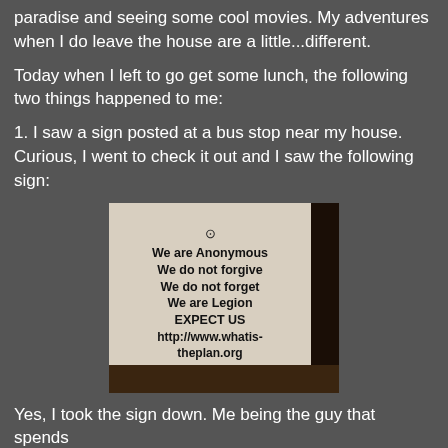paradise and seeing some cool movies. My adventures when I do leave the house are a little...different.
Today when I left to go get some lunch, the following two things happened to me:
1. I saw a sign posted at a bus stop near my house. Curious, I went to check it out and I saw the following sign:
[Figure (photo): A photo of a crumpled white paper/bag sign reading: We are Anonymous / We do not forgive / We do not forget / We are Legion / EXPECT US / http://www.whatis-theplan.org, with an Anonymous logo at the top]
Yes, I took the sign down. Me being the guy that spends